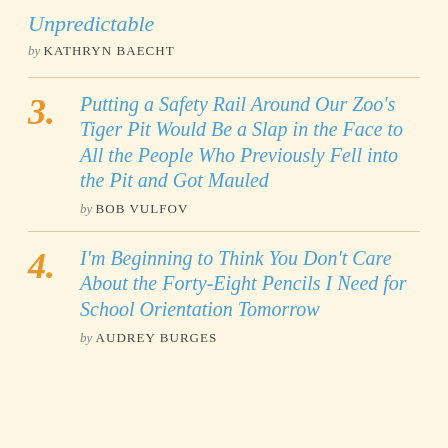Unpredictable
by KATHRYN BAECHT
3. Putting a Safety Rail Around Our Zoo's Tiger Pit Would Be a Slap in the Face to All the People Who Previously Fell into the Pit and Got Mauled — by BOB VULFOV
4. I'm Beginning to Think You Don't Care About the Forty-Eight Pencils I Need for School Orientation Tomorrow — by AUDREY BURGES